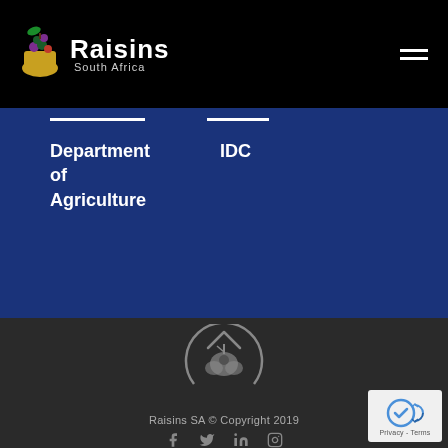Raisins South Africa
Department of Agriculture
IDC
[Figure (logo): Raisins SA circular logo with grape leaf motif in grey]
Raisins SA © Copyright 2019